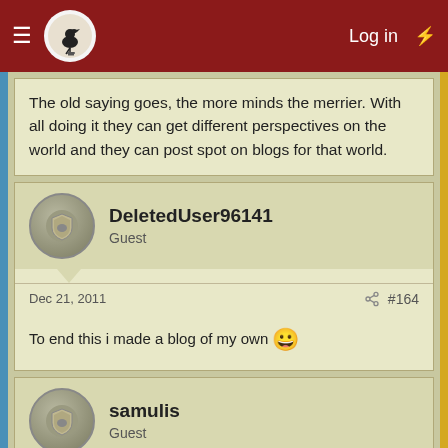Log in
The old saying goes, the more minds the merrier. With all doing it they can get different perspectives on the world and they can post spot on blogs for that world.
DeletedUser96141
Guest
Dec 21, 2011  #164
To end this i made a blog of my own 😀
samulis
Guest
Dec 25, 2011  #165
"Did you know you can also visit us on our Discord chat? Come and meet us!
Note: This is an official statement by the Tribalwars.net Blog Administration. not an official statement by InnoGames or the